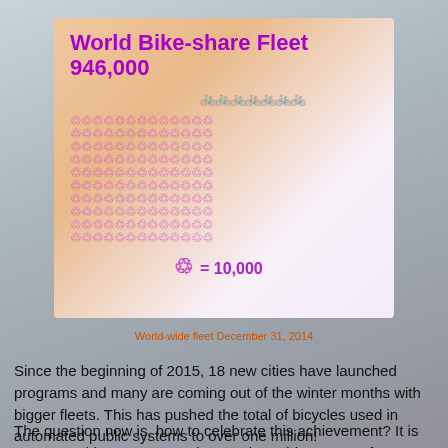[Figure (infographic): World Bike-share Fleet infographic showing 946,000 bikes represented by a grid of bicycle icons where each icon equals 10,000 bikes]
World-wide fleet December 31, 2014
Since the beginning of 2015, 18 new cities have launched programs and many are coming out of the winter months with bigger fleets. This has pushed the total of bicycles used in automated public systems to over one million!
The question now is, how to celebrate this achievement? It is easy, use this momentous day to take a ride on one of